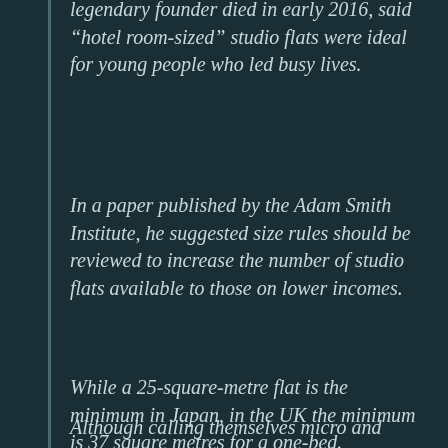legendary founder died in early 2016, said “hotel room-sized” studio flats were ideal for young people who led busy lives.
In a paper published by the Adam Smith Institute, he suggested size rules should be reviewed to increase the number of studio flats available to those on lower incomes.
While a 25-square-metre flat is the minimum in Japan, in the UK the minimum is 37 square metres for a one-bed.
Although calling themselves micro and